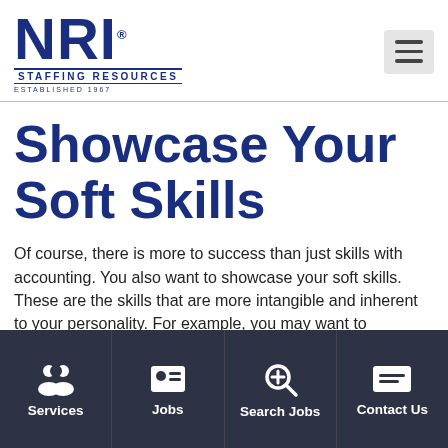[Figure (logo): NRI Staffing Resources logo — blue block letters 'NRI' with registered trademark, 'STAFFING RESOURCES' and 'ESTABLISHED 1967' below]
[Figure (other): Hamburger menu icon (three horizontal lines) on a light grey square background]
Showcase Your Soft Skills
Of course, there is more to success than just skills with accounting. You also want to showcase your soft skills. These are the skills that are more intangible and inherent to your personality. For example, you may want to emphasize that you have excellent communication skills...
[Figure (other): Bottom navigation bar with four items: Services (group of people icon), Jobs (ID card icon), Search Jobs (magnifying glass with plus icon), Contact Us (envelope with lines icon)]